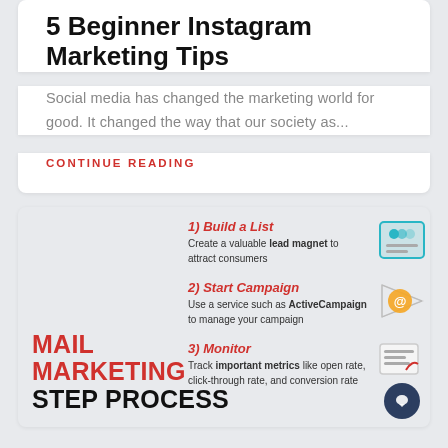5 Beginner Instagram Marketing Tips
Social media has changed the marketing world for good. It changed the way that our society as...
CONTINUE READING
[Figure (infographic): Email Marketing Step Process infographic showing 3 steps: 1) Build a List - Create a valuable lead magnet to attract consumers; 2) Start Campaign - Use a service such as ActiveCampaign to manage your campaign; 3) Monitor - Track important metrics like open rate, click-through rate, and conversion rate]